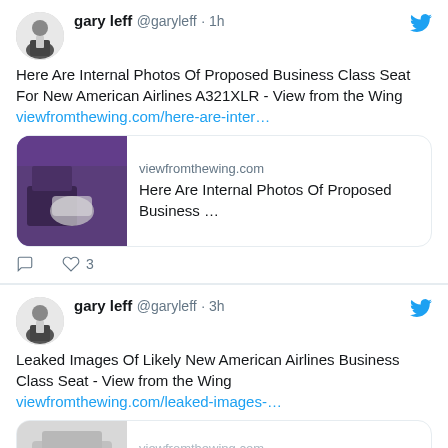[Figure (screenshot): Twitter/X feed screenshot showing two tweets by gary leff @garyleff. First tweet posted 1h ago: 'Here Are Internal Photos Of Proposed Business Class Seat For New American Airlines A321XLR - View from the Wing' with link card to viewfromthewing.com. Second tweet posted 3h ago: 'Leaked Images Of Likely New American Airlines Business Class Seat - View from the Wing' with partial link card visible.]